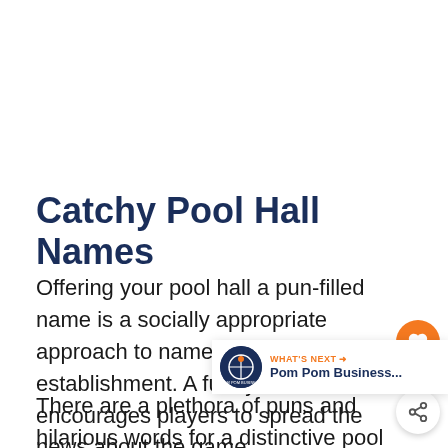Catchy Pool Hall Names
Offering your pool hall a pun-filled name is a socially appropriate approach to name this sort of establishment. A funny name encourages players to spread the news about the game.
There are a plethora of puns and hilarious words for a distinctive pool hall